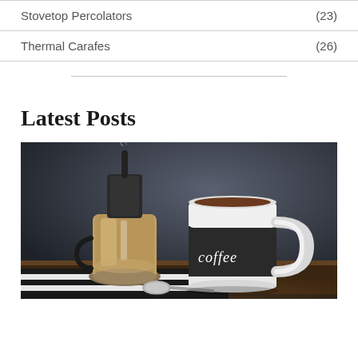Stovetop Percolators (23)
Thermal Carafes (26)
Latest Posts
[Figure (photo): Coffee mug with chalkboard label reading 'coffee', next to a stovetop espresso maker, on a striped cloth with a spoon, dark moody background]